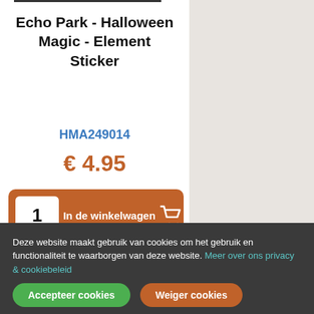Echo Park - Halloween Magic - Element Sticker
HMA249014
€ 4.95
1  In de winkelwagen
1  2  3
Informatie
Deze website maakt gebruik van cookies om het gebruik en functionaliteit te waarborgen van deze website. Meer over ons privacy & cookiebeleid
Accepteer cookies
Weiger cookies